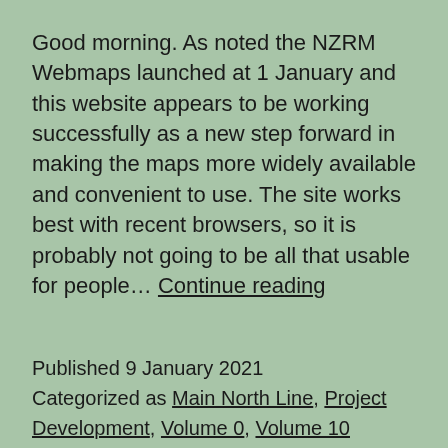Good morning. As noted the NZRM Webmaps launched at 1 January and this website appears to be working successfully as a new step forward in making the maps more widely available and convenient to use. The site works best with recent browsers, so it is probably not going to be all that usable for people… Continue reading
Published 9 January 2021
Categorized as Main North Line, Project Development, Volume 0, Volume 10